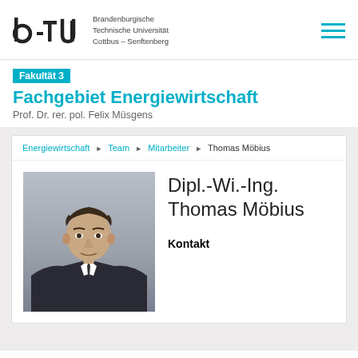[Figure (logo): BTU Cottbus-Senftenberg logo with b-tu wordmark]
Brandenburgische
Technische Universität
Cottbus – Senftenberg
Fakultät 3
Fachgebiet Energiewirtschaft
Prof. Dr. rer. pol. Felix Müsgens
Energiewirtschaft ▶ Team ▶ Mitarbeiter ▶ Thomas Möbius
[Figure (photo): Portrait photo of Thomas Möbius, a man in a suit]
Dipl.-Wi.-Ing. Thomas Möbius
Kontakt